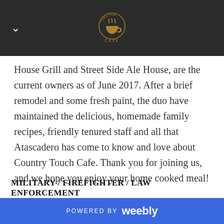Country Touch Cafe logo navigation bar
House Grill and Street Side Ale House, are the current owners as of June 2017. After a brief remodel and some fresh paint, the duo have maintained the delicious, homemade family recipes, friendly tenured staff and all that Atascadero has come to know and love about Country Touch Cafe.  Thank you for joining us, and we hope you enjoy your home cooked meal!
MILITARY / FIREFIGHTER / LAW ENFORCEMENT
We offer a discount to military members, firefighters, and
POWERED BY weebly